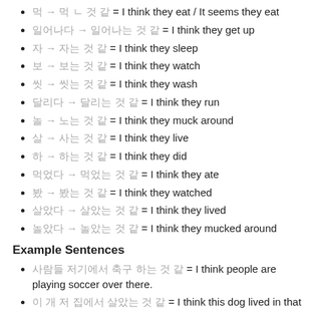먹다 → 먹는 것 같다 = I think they eat / It seems they eat
일어나다 → 일어나는 것 같다 = I think they get up
자다 → 자는 것 같다 = I think they sleep
보다 → 보는 것 같다 = I think they watch
씻다 → 씻는 것 같다 = I think they wash
달리다 → 달리는 것 같다 = I think they run
놀다 → 노는 것 같다 = I think they muck around
살다 → 사는 것 같다 = I think they live
하다 → 하는 것 같다 = I think they did
먹었다 → 먹었는 것 같다 = I think they ate
봤다 → 봤는 것 같다 = I think they watched
살았다 → 살았는 것 같다 = I think they lived
놀았다 → 놀았는 것 같다 = I think they mucked around
Example Sentences
사람들이 저기에서 축구를 하는 것 같다 = I think people are playing soccer over there.
이 개가 저 집에서 살았는 것 같다 = I think this dog lived in that